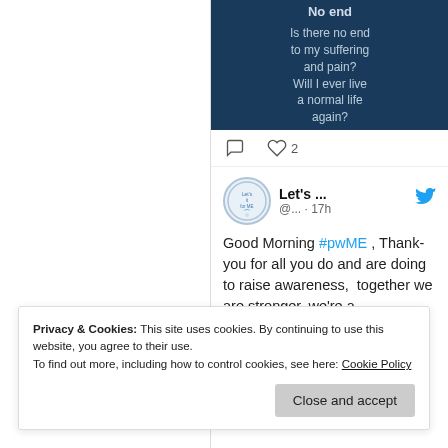[Figure (screenshot): Dark blue image with text: 'No end' as title and 'Is there no end to my suffering and pain? Will I ever live a normal life again?' as body text]
♡ 2 (like count with comment icon)
[Figure (screenshot): Tweet from 'Let’s ...' account (@... · 17h) with Twitter bird logo and circular avatar. Tweet text: 'Good Morning #pwME , Thank-you for all you do and are doing to raise awareness, together we are stronger, we’re a']
Privacy & Cookies: This site uses cookies. By continuing to use this website, you agree to their use.
To find out more, including how to control cookies, see here: Cookie Policy
Close and accept